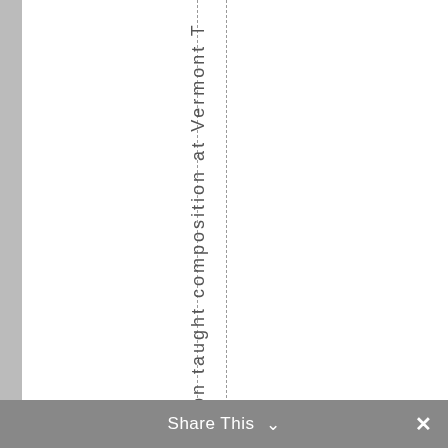on taught composition at Vermont T
Share This ∨  ×